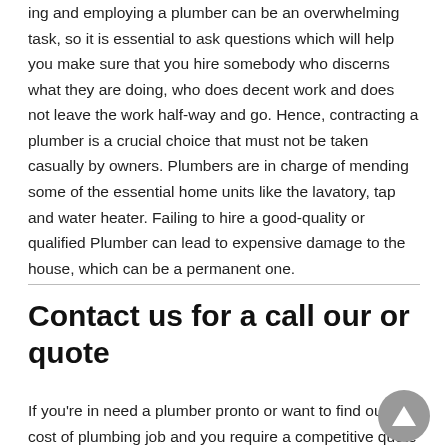Hiring and employing a plumber can be an overwhelming task, so it is essential to ask questions which will help you make sure that you hire somebody who discerns what they are doing, who does decent work and does not leave the work half-way and go. Hence, contracting a plumber is a crucial choice that must not be taken casually by owners. Plumbers are in charge of mending some of the essential home units like the lavatory, tap and water heater. Failing to hire a good-quality or qualified Plumber can lead to expensive damage to the house, which can be a permanent one.
Contact us for a call our or quote
If you're in need a plumber pronto or want to find out the cost of plumbing job and you require a competitive quote in